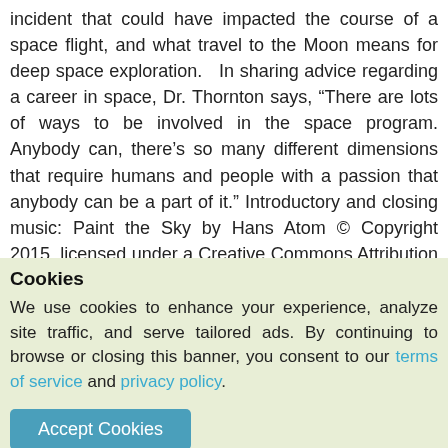incident that could have impacted the course of a space flight, and what travel to the Moon means for deep space exploration.   In sharing advice regarding a career in space, Dr. Thornton says, “There are lots of ways to be involved in the space program. Anybody can, there’s so many different dimensions that require humans and people with a passion that anybody can be a part of it.” Introductory and closing music: Paint the Sky by Hans Atom © Copyright 2015, licensed under a Creative Commons Attribution (3.0) license. http://dig.ccmixter.org/files/hansatom/50718 Ft: Miss
Cookies
We use cookies to enhance your experience, analyze site traffic, and serve tailored ads. By continuing to browse or closing this banner, you consent to our terms of service and privacy policy.
Accept Cookies